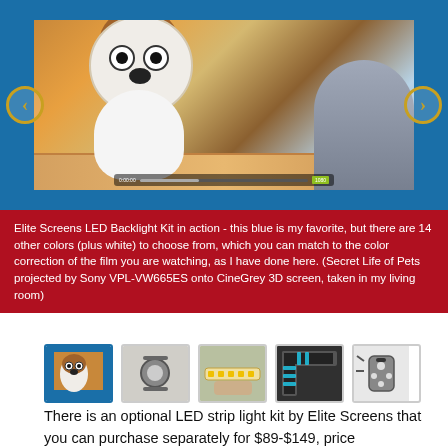[Figure (photo): Elite Screens LED Backlight Kit shown in action — a TV/projection screen showing an animated dog (from Secret Life of Pets) with blue LED backlighting, flanked by left and right navigation arrows. Video playback controls are visible at the bottom.]
Elite Screens LED Backlight Kit in action - this blue is my favorite, but there are 14 other colors (plus white) to choose from, which you can match to the color correction of the film you are watching, as I have done here. (Secret Life of Pets projected by Sony VPL-VW665ES onto CineGrey 3D screen, taken in my living room)
[Figure (photo): Row of 5 product thumbnail images: 1) animated dog scene, 2) LED hardware/connectors close-up, 3) LED strip being handled, 4) LED strip on screen frame corner, 5) LED controller/remote unit]
There is an optional LED strip light kit by Elite Screens that you can purchase separately for $89-$149, price dependent, of course, on your screen size. Elite brought these with the screens